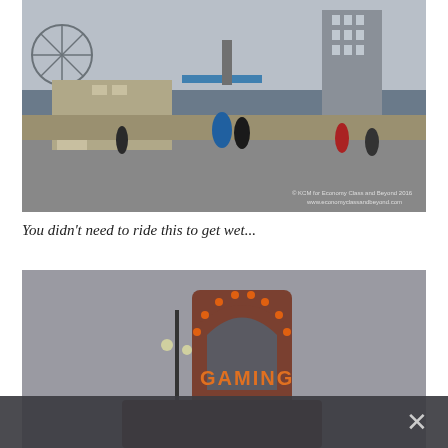[Figure (photo): Outdoor amusement park / carnival area with stone-themed structures, statues, ferris wheel in background, people walking, overcast sky. Watermark: '© KCM for Economy Class and Beyond 2016 www.economyclassandbeyond.com']
You didn't need to ride this to get wet...
[Figure (photo): Sign or tower structure with orange/amber illuminated letters spelling 'GAMING' or similar, brick arch shape with decorative lights, overcast sky background. Dark overlay bar at bottom with X close button.]